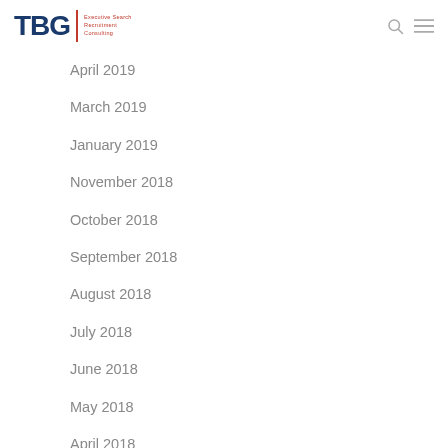TBG | Executive Search Recruitment Consulting
April 2019
March 2019
January 2019
November 2018
October 2018
September 2018
August 2018
July 2018
June 2018
May 2018
April 2018
March 2018